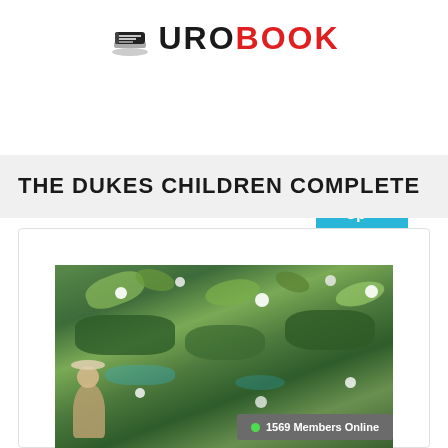[Figure (logo): EuroBook logo with stacked book icon and text EUROBOOK where EURO is black and BOOK is red]
Sign Up
THE DUKES CHILDREN COMPLETE
[Figure (photo): Impressionist painting with green outdoor scene, figures near water with white flowers/blossoms]
1569 Members Online